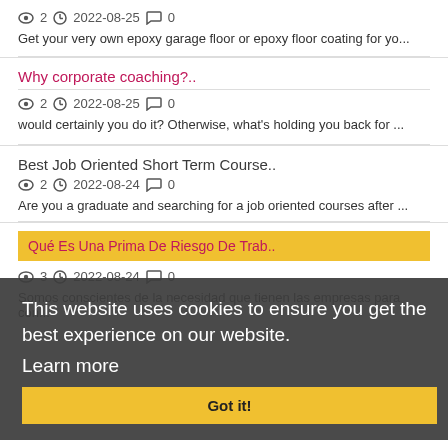2  2022-08-25  0
Get your very own epoxy garage floor or epoxy floor coating for yo...
Why corporate coaching?..
2  2022-08-25  0
would certainly you do it? Otherwise, what's holding you back for ...
Best Job Oriented Short Term Course..
2  2022-08-24  0
Are you a graduate and searching for a job oriented courses after ...
This website uses cookies to ensure you get the best experience on our website.
Learn more
Got it!
Qué Es Una Prima De Riesgo De Trab..
3  2022-08-24  0
Somos conscientes de la necesidad que tienen las empresas para con...